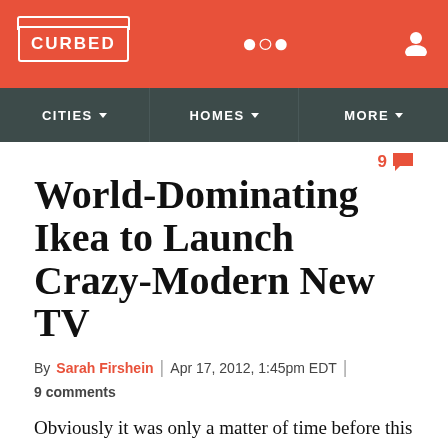CURBED
CITIES | HOMES | MORE
9 comments
World-Dominating Ikea to Launch Crazy-Modern New TV
By Sarah Firshein | Apr 17, 2012, 1:45pm EDT | 9 comments
Obviously it was only a matter of time before this happened: Ikea will soon make TVs. In fall the Swedish furnishings retailer, which now counts fully furnished houses and London suburbs among its credits, will break